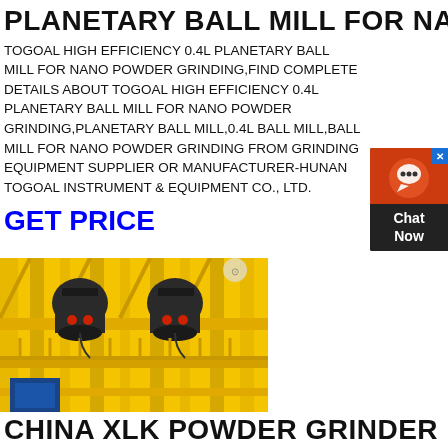PLANETARY BALL MILL FOR NANO
TOGOAL HIGH EFFICIENCY 0.4L PLANETARY BALL MILL FOR NANO POWDER GRINDING,FIND COMPLETE DETAILS ABOUT TOGOAL HIGH EFFICIENCY 0.4L PLANETARY BALL MILL FOR NANO POWDER GRINDING,PLANETARY BALL MILL,0.4L BALL MILL,BALL MILL FOR NANO POWDER GRINDING FROM GRINDING EQUIPMENT SUPPLIER OR MANUFACTURER-HUNAN TOGOAL INSTRUMENT & EQUIPMENT CO., LTD.
GET PRICE
[Figure (photo): Industrial grinding/crushing equipment on yellow steel platform structure]
CHINA XLK POWDER GRINDER